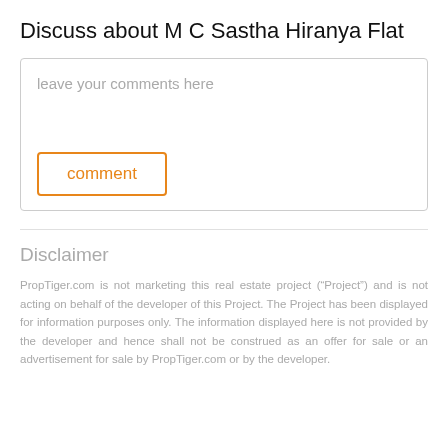Discuss about M C Sastha Hiranya Flat
leave your comments here
comment
Disclaimer
PropTiger.com is not marketing this real estate project (“Project”) and is not acting on behalf of the developer of this Project. The Project has been displayed for information purposes only. The information displayed here is not provided by the developer and hence shall not be construed as an offer for sale or an advertisement for sale by PropTiger.com or by the developer.